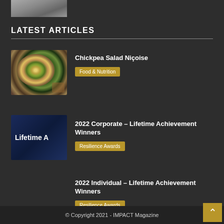[Figure (photo): Partial image of a person on a bicycle, cropped at top of page]
LATEST ARTICLES
[Figure (photo): Colorful chickpea salad in a bowl with vegetables]
Chickpea Salad Niçoise
Food & Nutrition
[Figure (photo): Dark blue background with text 'Lifetime A' visible, corporate awards image]
2022 Corporate – Lifetime Achievement Winners
Resilience Awards
2022 Individual – Lifetime Achievement Winners
Resilience Awards
© Copyright 2021 - IMPACT Magazine